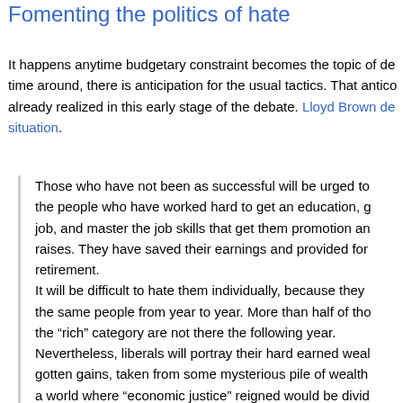Fomenting the politics of hate
It happens anytime budgetary constraint becomes the topic of de… time around, there is anticipation for the usual tactics. That antico… already realized in this early stage of the debate. Lloyd Brown de… situation.
Those who have not been as successful will be urged to… the people who have worked hard to get an education, g… job, and master the job skills that get them promotion an… raises. They have saved their earnings and provided for… retirement.
It will be difficult to hate them individually, because they… the same people from year to year. More than half of tho… the “rich” category are not there the following year.
Nevertheless, liberals will portray their hard earned weal… gotten gains, taken from some mysterious pile of wealth… a world where “economic justice” reigned would be divid… equally among all Americans. (See: Communism, 1917-